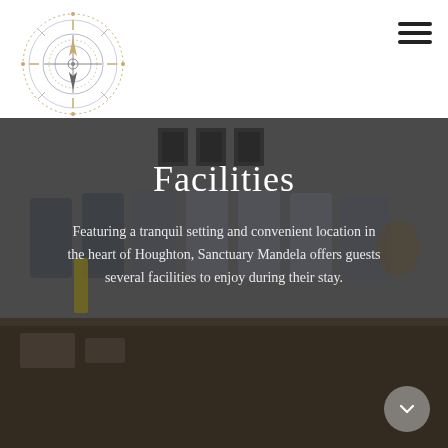[Figure (logo): Compass rose logo with gold/orange and grey detailing — circular compass with cross hairs and decorative outer ring]
[Figure (photo): Conference room with grey office chairs around a long wooden table, framed artwork on the wall in background, dimly lit with a dark overlay]
Facilities
Featuring a tranquil setting and convenient location in the heart of Houghton, Sanctuary Mandela offers guests several facilities to enjoy during their stay.